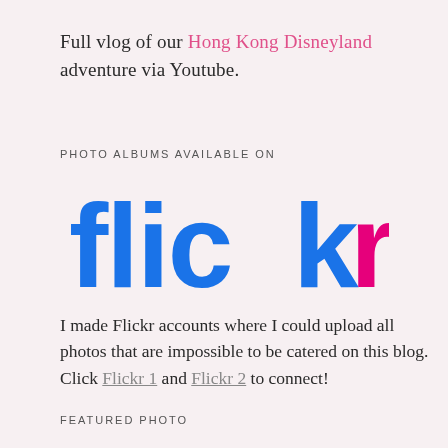Full vlog of our Hong Kong Disneyland adventure via Youtube.
PHOTO ALBUMS AVAILABLE ON
[Figure (logo): Flickr logo in large bold text, 'flickr' with 'flic' and 'k' in blue and 'r' in pink/magenta]
I made Flickr accounts where I could upload all photos that are impossible to be catered on this blog. Click Flickr 1 and Flickr 2 to connect!
FEATURED PHOTO